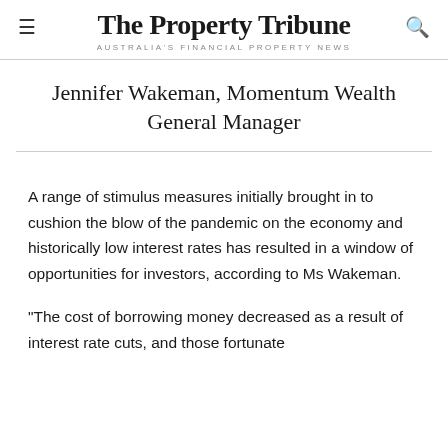The Property Tribune
AUSTRALIA'S FINANCIAL PROPERTY NEWS
Jennifer Wakeman, Momentum Wealth General Manager
A range of stimulus measures initially brought in to cushion the blow of the pandemic on the economy and historically low interest rates has resulted in a window of opportunities for investors, according to Ms Wakeman.
“The cost of borrowing money decreased as a result of interest rate cuts, and those fortunate